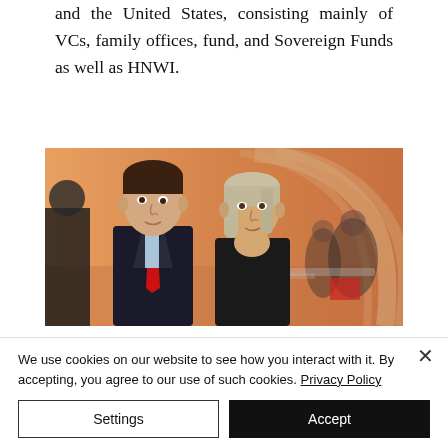and the United States, consisting mainly of VCs, family offices, fund, and Sovereign Funds as well as HNWI.
[Figure (photo): Two people posing for a photo at a business event. A man in a dark suit with a red tie stands next to a woman in dark attire. The background shows an event venue with an orange backdrop featuring a logo.]
We use cookies on our website to see how you interact with it. By accepting, you agree to our use of such cookies. Privacy Policy